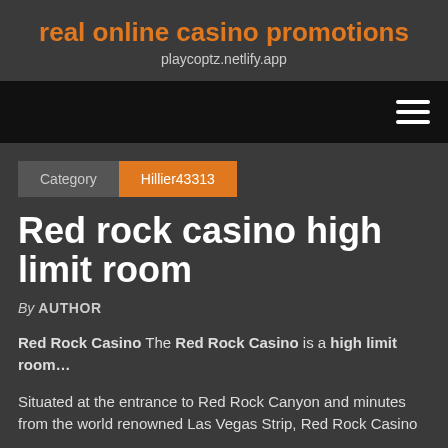real online casino promotions
playcoptz.netlify.app
Red rock casino high limit room
By AUTHOR
Red Rock Casino The Red Rock Casino is a high limit room…
Situated at the entrance to Red Rock Canyon and minutes from the world renowned Las Vegas Strip, Red Rock Casino